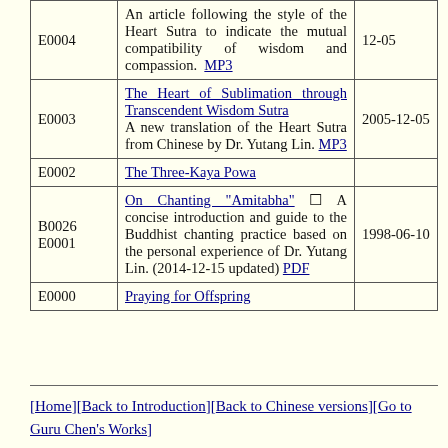| Code | Description | Date |
| --- | --- | --- |
| E0004 | An article following the style of the Heart Sutra to indicate the mutual compatibility of wisdom and compassion. MP3 | 12-05 |
| E0003 | The Heart of Sublimation through Transcendent Wisdom Sutra A new translation of the Heart Sutra from Chinese by Dr. Yutang Lin. MP3 | 2005-12-05 |
| E0002 | The Three-Kaya Powa |  |
| B0026 E0001 | On Chanting "Amitabha" ☐ A concise introduction and guide to the Buddhist chanting practice based on the personal experience of Dr. Yutang Lin. (2014-12-15 updated) PDF | 1998-06-10 |
| E0000 | Praying for Offspring |  |
[Home][Back to Introduction][Back to Chinese versions][Go to Guru Chen's Works]